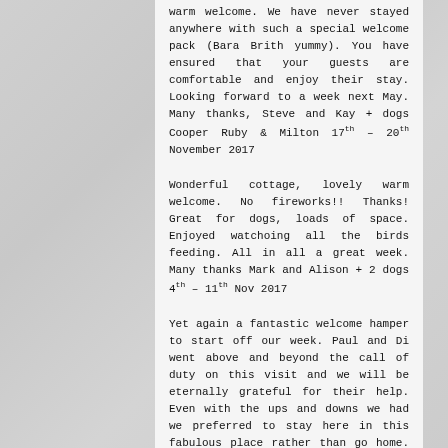warm welcome. We have never stayed anywhere with such a special welcome pack (Bara Brith yummy). You have ensured that your guests are comfortable and enjoy their stay. Looking forward to a week next May. Many thanks, Steve and Kay + dogs Cooper Ruby & Milton 17th – 20th November 2017
Wonderful cottage, lovely warm welcome. No fireworks!! Thanks! Great for dogs, loads of space. Enjoyed watchoing all the birds feeding. All in all a great week. Many thanks Mark and Alison + 2 dogs 4th – 11th Nov 2017
Yet again a fantastic welcome hamper to start off our week. Paul and Di went above and beyond the call of duty on this visit and we will be eternally grateful for their help. Even with the ups and downs we had we preferred to stay here in this fabulous place rather than go home. Even staying a day longer than planned. Never got the chance to go out much on this visit, but was blessed with some lovely sunny days and just enjoyed the peace and the view. The